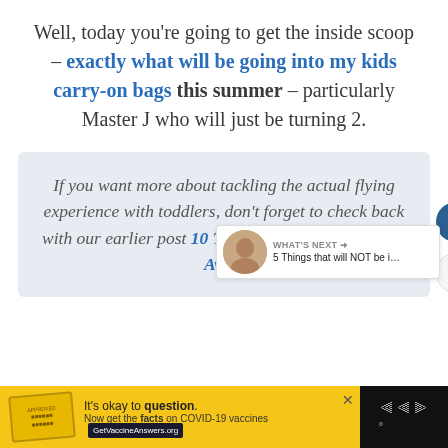Well, today you're going to get the inside scoop – exactly what will be going into my kids carry-on bags this summer – particularly Master J who will just be turning 2.
If you want more about tackling the actual flying experience with toddlers, don't forget to check back with our earlier post 10 Toddler Flying Mistakes to Avo...
WHAT'S NEXT → 5 Things that will NOT be i...
[Figure (screenshot): Yellow advertisement bar: It's okay to question. Now get the facts on COVID-19 vaccines. GetVaccineAnswers.org]
It's okay to question. Now get the facts on COVID-19 vaccines. GetVaccineAnswers.org